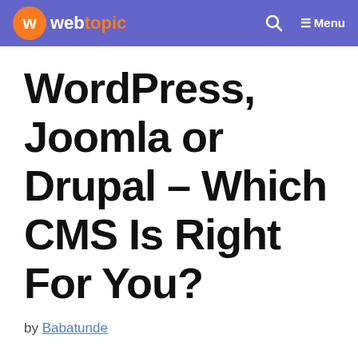webtopic — Menu
WordPress, Joomla or Drupal – Which CMS Is Right For You?
by Babatunde